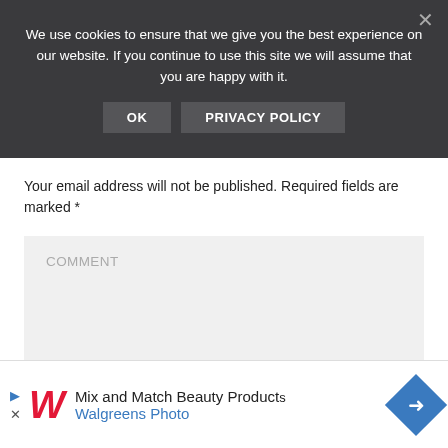We use cookies to ensure that we give you the best experience on our website. If you continue to use this site we will assume that you are happy with it.
OK   PRIVACY POLICY
Your email address will not be published. Required fields are marked *
[Figure (screenshot): Comment text input box with placeholder text COMMENT]
[Figure (screenshot): Walgreens ad banner: Mix and Match Beauty Products, Walgreens Photo]